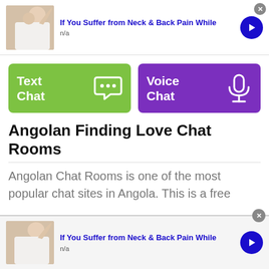[Figure (infographic): Ad banner: photo of person with neck/back pain, title 'If You Suffer from Neck & Back Pain While', subtitle 'n/a', blue arrow button, close X button]
[Figure (infographic): Two chat buttons: green 'Text Chat' with speech bubble icon, purple 'Voice Chat' with microphone icon]
Angolan Finding Love Chat Rooms
Angolan Chat Rooms is one of the most popular chat sites in Angola. This is a free
[Figure (infographic): Second ad banner at bottom: same neck/back pain ad with photo, title, 'n/a', blue arrow button, close X button]